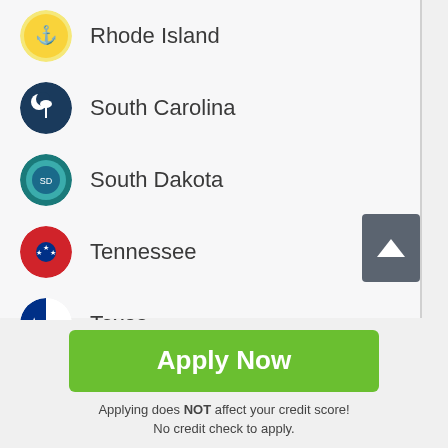Rhode Island
South Carolina
South Dakota
Tennessee
Texas
Utah
Apply Now
Applying does NOT affect your credit score! No credit check to apply.